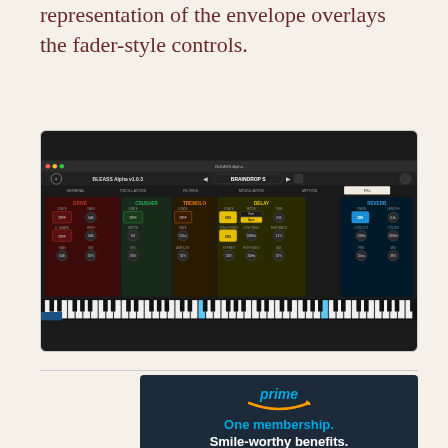representation of the envelope overlays the fader-style controls.
[Figure (screenshot): BLEASS Alpha v1.0.3 synthesizer plugin interface showing BRAINDROP preset with controls for GENERAL, OSCILLATORS, FILTERS, MODULATION, MOTION, and FX sections including DRIVE, CRUSHER, TREMOLO, DELAY, MOTION, and REVERB modules with a piano keyboard at the bottom.]
[Figure (photo): Amazon Prime advertisement showing 'prime' logo with smile arrow, text 'One membership. Smile-worthy benefits.' and partial text 'Give the gift of Prime']